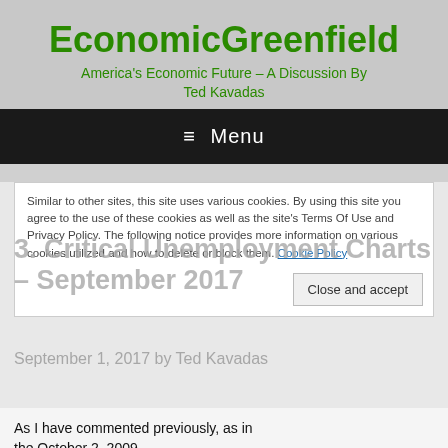EconomicGreenfield
America's Economic Future – A Discussion By Ted Kavadas
≡ Menu
Similar to other sites, this site uses various cookies. By using this site you agree to the use of these cookies as well as the site's Terms Of Use and Privacy Policy. The following notice provides more information on various cookies utilized and how to delete or block them. Cookie Policy
3. Critical Unemployment Charts – September 2017
September 1, 2017 by Ted Kavadas
Close and accept
As I have commented previously, as in the October 2, 2009..."A Note About